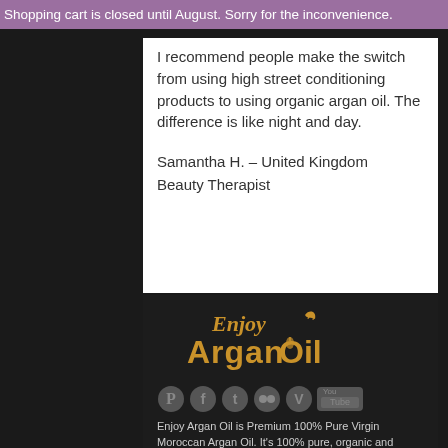Shopping cart is closed until August. Sorry for the inconvenience.
I recommend people make the switch from using high street conditioning products to using organic argan oil. The difference is like night and day.
Samantha H. – United Kingdom
Beauty Therapist
[Figure (logo): Enjoy Argan Oil logo in gold/yellow text on dark background]
[Figure (infographic): Social media icons: Pinterest, Facebook, Twitter, Flickr, Vimeo, YouTube]
Enjoy Argan Oil is Premium 100% Pure Virgin Moroccan Argan Oil. It's 100% pure, organic and deodorised. And with no added colours or perfumes or preservatives or parabens,